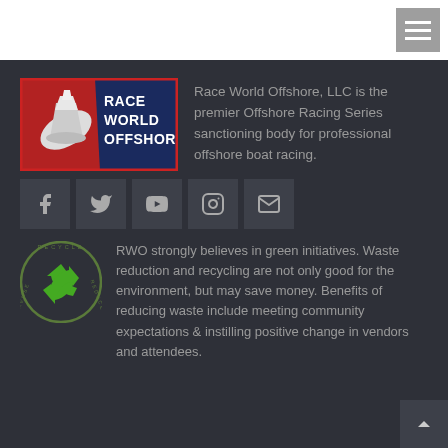[Figure (logo): Race World Offshore logo with hamburger menu icon in top-right corner]
[Figure (logo): Race World Offshore company logo — red and navy blue with boat graphic and white text]
Race World Offshore, LLC is the premier Offshore Racing Series sanctioning body for professional offshore boat racing.
[Figure (infographic): Social media icon buttons: Facebook, Twitter, YouTube, Instagram, Email]
[Figure (logo): Recycle Reuse Reduce circular green logo]
RWO strongly believes in green initiatives. Waste reduction and recycling are not only good for the environment, but may save money. Benefits of reducing waste include meeting community expectations & instilling positive change in vendors and attendees.